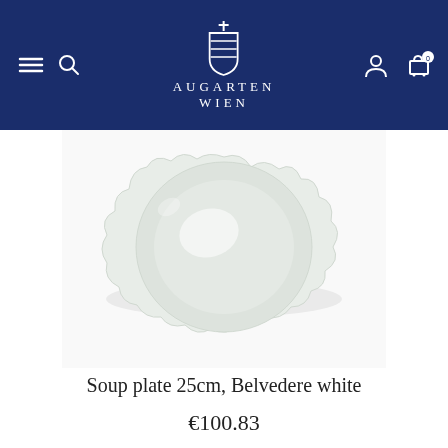Augarten Wien navigation header
[Figure (photo): White porcelain soup plate with scalloped/lobed edge, Belvedere pattern, photographed from above on white background]
Soup plate 25cm, Belvedere white
€100.83